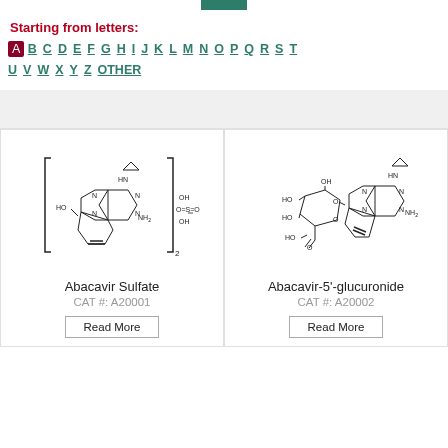Starting from letters:
A B C D E F G H I J K L M N O P Q R S T U V W X Y Z OTHER
[Figure (schematic): Chemical structure of Abacavir Sulfate showing purine ring with cyclopropyl and amino groups, with sulfate counterion bracket notation subscript 2]
Abacavir Sulfate
CAT #: A20001
[Figure (schematic): Chemical structure of Abacavir-5'-glucuronide showing purine ring with cyclopropyl and amino groups attached to glucuronide sugar moiety]
Abacavir-5'-glucuronide
CAT #: A20002